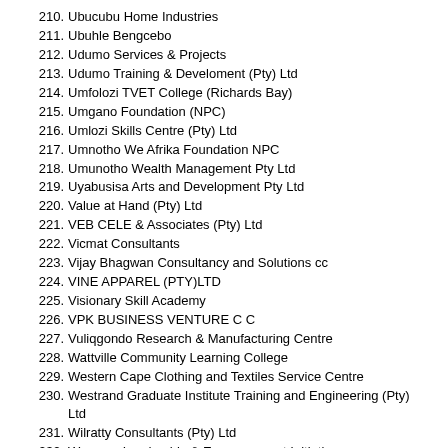210. Ubucubu Home Industries
211. Ubuhle Bengcebo
212. Udumo Services & Projects
213. Udumo Training & Develoment (Pty) Ltd
214. Umfolozi TVET College (Richards Bay)
215. Umgano Foundation (NPC)
216. Umlozi Skills Centre (Pty) Ltd
217. Umnotho We Afrika Foundation NPC
218. Umunotho Wealth Management Pty Ltd
219. Uyabusisa Arts and Development Pty Ltd
220. Value at Hand (Pty) Ltd
221. VEB CELE & Associates (Pty) Ltd
222. Vicmat Consultants
223. Vijay Bhagwan Consultancy and Solutions cc
224. VINE APPAREL (PTY)LTD
225. Visionary Skill Academy
226. VPK BUSINESS VENTURE C C
227. Vuliqgondo Research & Manufacturing Centre
228. Wattville Community Learning College
229. Western Cape Clothing and Textiles Service Centre
230. Westrand Graduate Institute Training and Engineering (Pty) Ltd
231. Wilratty Consultants (Pty) Ltd
232. Womens Leadership & Empowerment Initiative
233. World Pace Development & Training Institute (Pty) Ltd
234. World Pace Development and Training Institute
235. Yahweh Shammah Socio-Economic Development